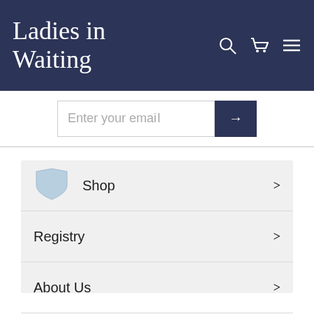Ladies in Waiting
Enter your email
Shop
Registry
About Us
Brands
Personalization